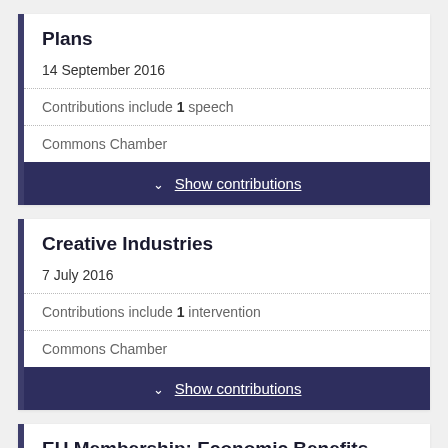Plans
14 September 2016
Contributions include 1 speech
Commons Chamber
Show contributions
Creative Industries
7 July 2016
Contributions include 1 intervention
Commons Chamber
Show contributions
EU Membership: Economic Benefits